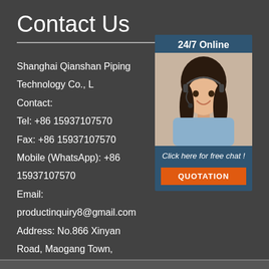Contact Us
Shanghai Qianshan Piping Technology Co., L
Contact:
Tel: +86 15937107570
Fax: +86 15937107570
Mobile (WhatsApp): +86 15937107570
Email: productinquiry8@gmail.com
Address: No.866 Xinyan Road, Maogang Town, Songjiang District, Shanghai City, China
[Figure (photo): Customer service representative woman with headset smiling, sidebar with 24/7 Online label, Click here for free chat text, and QUOTATION button]